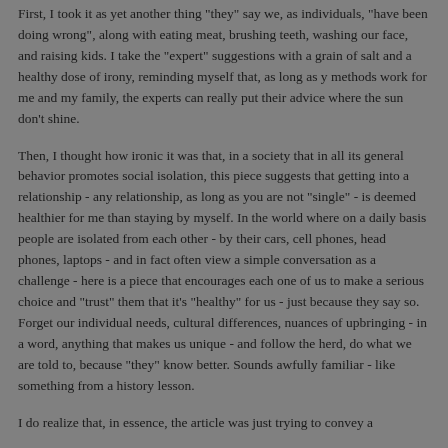First, I took it as yet another thing "they" say we, as individuals, "have been doing wrong", along with eating meat, brushing teeth, washing our face, and raising kids. I take the "expert" suggestions with a grain of salt and a healthy dose of irony, reminding myself that, as long as y methods work for me and my family, the experts can really put their advice where the sun don't shine.
Then, I thought how ironic it was that, in a society that in all its general behavior promotes social isolation, this piece suggests that getting into a relationship - any relationship, as long as you are not "single" - is deemed healthier for me than staying by myself. In the world where on a daily basis people are isolated from each other - by their cars, cell phones, head phones, laptops - and in fact often view a simple conversation as a challenge - here is a piece that encourages each one of us to make a serious choice and "trust" them that it's "healthy" for us - just because they say so. Forget our individual needs, cultural differences, nuances of upbringing - in a word, anything that makes us unique - and follow the herd, do what we are told to, because "they" know better. Sounds awfully familiar - like something from a history lesson.
I do realize that, in essence, the article was just trying to convey a...